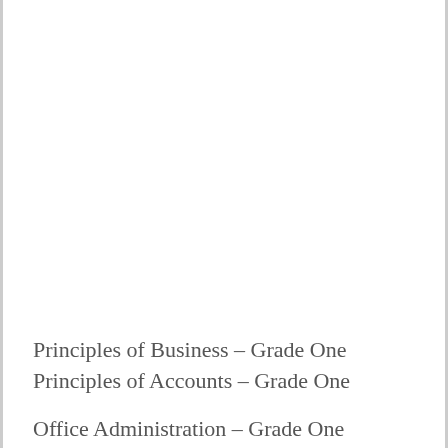Principles of Business – Grade One
Principles of Accounts – Grade One
Office Administration – Grade One